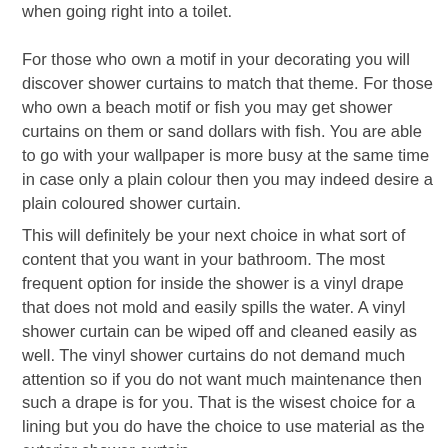when going right into a toilet.
For those who own a motif in your decorating you will discover shower curtains to match that theme. For those who own a beach motif or fish you may get shower curtains on them or sand dollars with fish. You are able to go with your wallpaper is more busy at the same time in case only a plain colour then you may indeed desire a plain coloured shower curtain.
This will definitely be your next choice in what sort of content that you want in your bathroom. The most frequent option for inside the shower is a vinyl drape that does not mold and easily spills the water. A vinyl shower curtain can be wiped off and cleaned easily as well. The vinyl shower curtains do not demand much attention so if you do not want much maintenance then such a drape is for you. That is the wisest choice for a lining but you do have the choice to use material as the exterior shower curtain.